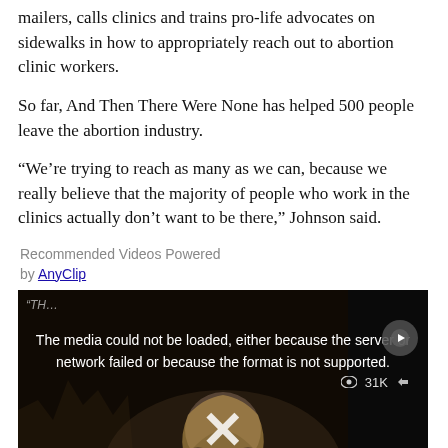mailers, calls clinics and trains pro-life advocates on sidewalks in how to appropriately reach out to abortion clinic workers.
So far, And Then There Were None has helped 500 people leave the abortion industry.
“We’re trying to reach as many as we can, because we really believe that the majority of people who work in the clinics actually don’t want to be there,” Johnson said.
Recommended Videos Powered by AnyClip
[Figure (screenshot): Embedded video player showing a media-could-not-be-loaded error message overlaid on a darkened scene with a woman with long blonde hair. An X close button and a circular play button are visible. A view count of 31K is shown.]